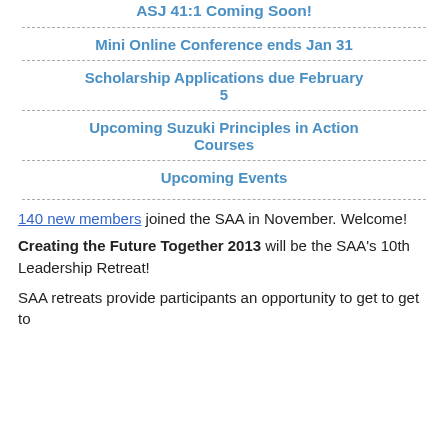ASJ 41:1 Coming Soon!
Mini Online Conference ends Jan 31
Scholarship Applications due February 5
Upcoming Suzuki Principles in Action Courses
Upcoming Events
140 new members joined the SAA in November. Welcome!
Creating the Future Together 2013 will be the SAA's 10th Leadership Retreat!
SAA retreats provide participants an opportunity to get to get to